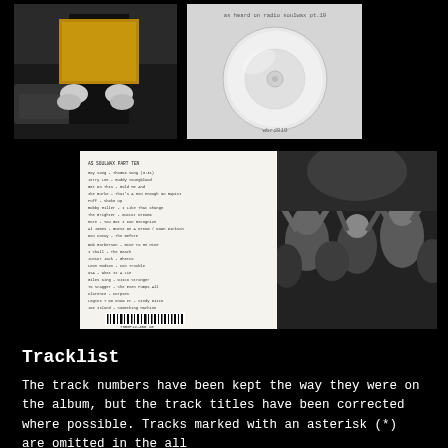[Figure (photo): Black and white photo of a person holding a large yellow/gold object, possibly a suitcase or box, obscuring their face. Black background.]
[Figure (photo): CD disc image on white/light grey background. Text reads 'as heard on radio soulwax pt.10' at top and 'wbrd010' at bottom.]
[Figure (photo): Album back cover with tracklist text and barcode at bottom.]
[Figure (photo): Black and white concert photo showing crowd at a music event.]
Tracklist
The track numbers have been kept the way they were on the album, but the track titles have been corrected where possible. Tracks marked with an asterisk (*) are omitted in the all